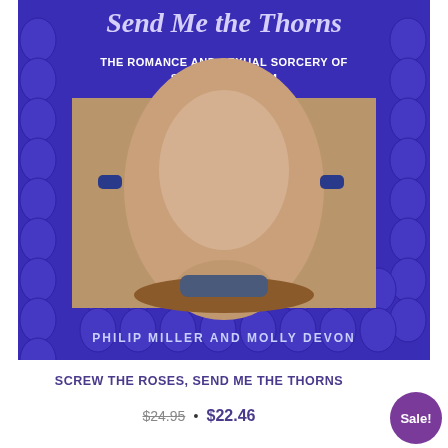[Figure (photo): Book cover for 'Screw the Roses, Send Me the Thorns: The Romance and Sexual Sorcery of Sadomasochism' by Philip Miller and Molly Devon. Purple/blue background with decorative pattern, central photograph, title text at top, author names at bottom.]
SCREW THE ROSES, SEND ME THE THORNS
$24.95 • $22.46